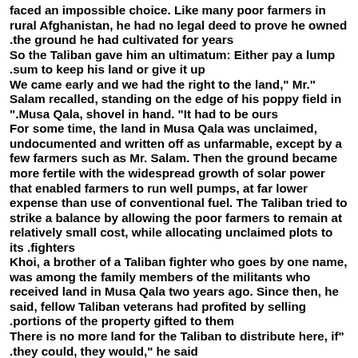faced an impossible choice. Like many poor farmers in rural Afghanistan, he had no legal deed to prove he owned the ground he had cultivated for years.
So the Taliban gave him an ultimatum: Either pay a lump sum to keep his land or give it up.
"We came early and we had the right to the land," Mr. Salam recalled, standing on the edge of his poppy field in Musa Qala, shovel in hand. "It had to be ours."
For some time, the land in Musa Qala was unclaimed, undocumented and written off as unfarmable, except by a few farmers such as Mr. Salam. Then the ground became more fertile with the widespread growth of solar power that enabled farmers to run well pumps, at far lower expense than use of conventional fuel. The Taliban tried to strike a balance by allowing the poor farmers to remain at relatively small cost, while allocating unclaimed plots to its fighters.
Khoi, a brother of a Taliban fighter who goes by one name, was among the family members of the militants who received land in Musa Qala two years ago. Since then, he said, fellow Taliban veterans had profited by selling portions of the property gifted to them.
"There is no more land for the Taliban to distribute here, if they could, they would," he said.
With no official guidance, Taliban officials have now resorted to the same practices throughout the country that carved up the area around Mr. Salam's farm.